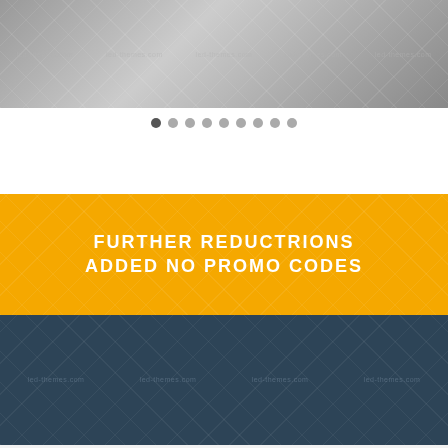[Figure (photo): Top banner showing car parts/tires with watermark text and diagonal grid overlay, light gray/silver tones]
[Figure (infographic): Row of 9 pagination dots, one darker (active), rest light gray]
[Figure (infographic): Yellow/amber banner with diagonal striped overlay and white text reading FURTHER REDUCTRIONS ADDED NO PROMO CODES]
[Figure (photo): Dark teal/navy image of auto repair shop interior with cars on lifts, watermark text overlay and diamond grid pattern]
Love This Theme?
SERCET SALE!